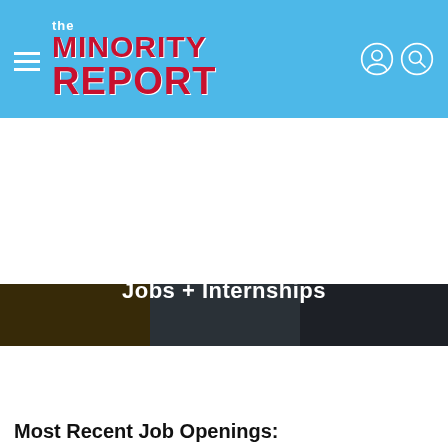the MINORITY REPORT
[Figure (photo): Jobs + Internships banner with food and professional images]
[Figure (screenshot): African American Jobs and Careers search widget with keywords, location, distance fields and Search button]
Most Recent Job Openings:
Internal Audit Analyst
Buckeye Partners